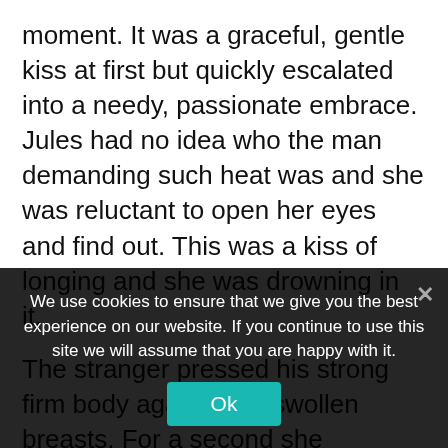moment. It was a graceful, gentle kiss at first but quickly escalated into a needy, passionate embrace. Jules had no idea who the man demanding such heat was and she was reluctant to open her eyes and find out. This was a kiss of longing and she was drowning in it.

The stranger pressed his strong firm body against her swollen breasts. For a second she questioned what she was doing, but any reluctance was crushed as she willingly opened her mouth to his sensuous and insistent tongue easing her lips apart. Hands slid hungrily to the flesh of her bottom squeezing it expertly through her jeans
We use cookies to ensure that we give you the best experience on our website. If you continue to use this site we will assume that you are happy with it.